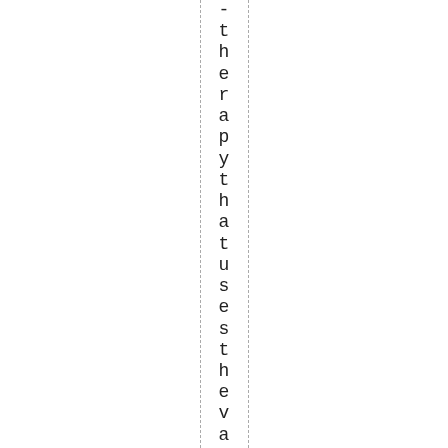- therapy that uses the vaginal cream